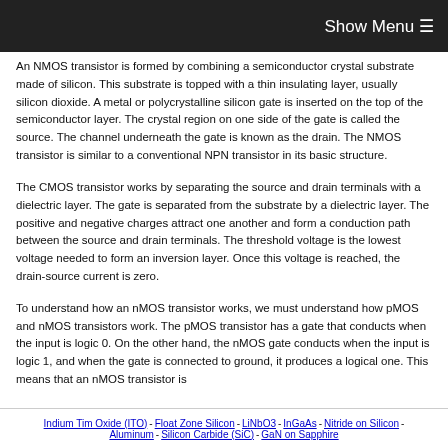Show Menu
An NMOS transistor is formed by combining a semiconductor crystal substrate made of silicon. This substrate is topped with a thin insulating layer, usually silicon dioxide. A metal or polycrystalline silicon gate is inserted on the top of the semiconductor layer. The crystal region on one side of the gate is called the source. The channel underneath the gate is known as the drain. The NMOS transistor is similar to a conventional NPN transistor in its basic structure.
The CMOS transistor works by separating the source and drain terminals with a dielectric layer. The gate is separated from the substrate by a dielectric layer. The positive and negative charges attract one another and form a conduction path between the source and drain terminals. The threshold voltage is the lowest voltage needed to form an inversion layer. Once this voltage is reached, the drain-source current is zero.
To understand how an nMOS transistor works, we must understand how pMOS and nMOS transistors work. The pMOS transistor has a gate that conducts when the input is logic 0. On the other hand, the nMOS gate conducts when the input is logic 1, and when the gate is connected to ground, it produces a logical one. This means that an nMOS transistor is
Indium Tim Oxide (ITO) - Float Zone Silicon - LiNbO3 - InGaAs - Nitride on Silicon - Aluminum - Silicon Carbide (SiC) - GaN on Sapphire